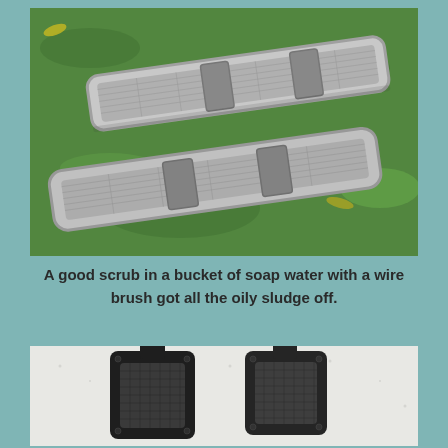[Figure (photo): Two long rectangular mesh/screen filters laid on green grass, viewed from above. The filters have aluminum frames and gray mesh screens with rectangular cutouts in the middle.]
A good scrub in a bucket of soap water with a wire brush got all the oily sludge off.
[Figure (photo): Two small square mesh filters with black plastic frames, placed side by side on a white textured surface. They appear to be cleaned versions of intake or air filters.]